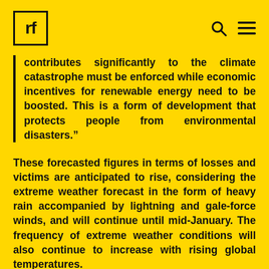rf
contributes significantly to the climate catastrophe must be enforced while economic incentives for renewable energy need to be boosted. This is a form of development that protects people from environmental disasters.”
These forecasted figures in terms of losses and victims are anticipated to rise, considering the extreme weather forecast in the form of heavy rain accompanied by lightning and gale-force winds, and will continue until mid-January. The frequency of extreme weather conditions will also continue to increase with rising global temperatures.